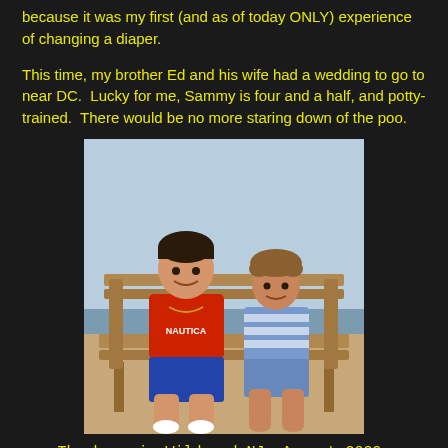because it was my first (and as of today ONLY) experience of changing a diaper.
This time, my brother Ed and his wife had a wedding to go to near DC.  Lucky for me, Sammy is four and a half, and potty-trained.  There would be no more staring down of the poo.
[Figure (photo): Two boys sitting on a wooden bench outdoors. The older boy wears a red Nautica shirt and blue shorts. The younger boy wears a blue and white striped polo shirt. Background shows water and sky.]
The boys in Wildwood NJ, August 2009.
When I was out at Daniel's 5th grade graduation, two weeks